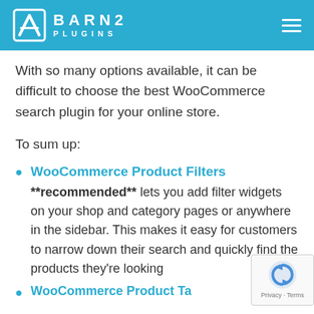BARN2 PLUGINS
With so many options available, it can be difficult to choose the best WooCommerce search plugin for your online store.
To sum up:
WooCommerce Product Filters **recommended** lets you add filter widgets on your shop and category pages or anywhere in the sidebar. This makes it easy for customers to narrow down their search and quickly find the products they're looking
WooCommerce Product Table (partially visible)